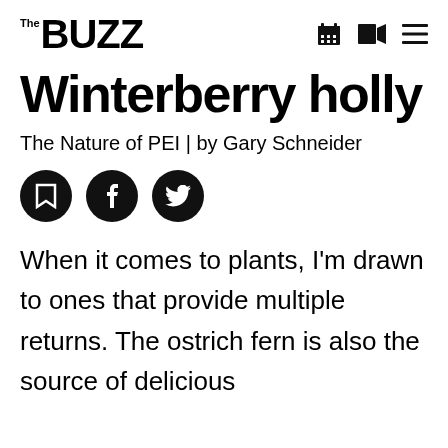The BUZZ
Winterberry holly
The Nature of PEI | by Gary Schneider
[Figure (other): Social sharing buttons: bookmark, Facebook, Twitter]
When it comes to plants, I'm drawn to ones that provide multiple returns. The ostrich fern is also the source of delicious